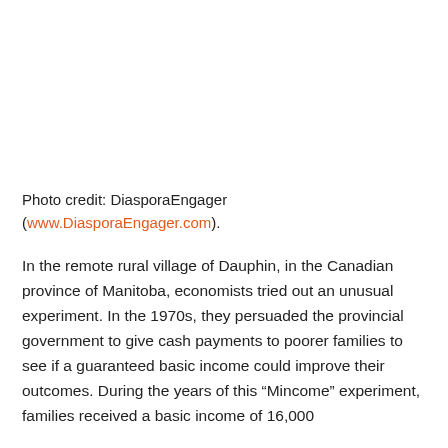Photo credit: DiasporaEngager (www.DiasporaEngager.com).
In the remote rural village of Dauphin, in the Canadian province of Manitoba, economists tried out an unusual experiment. In the 1970s, they persuaded the provincial government to give cash payments to poorer families to see if a guaranteed basic income could improve their outcomes. During the years of this “Mincome” experiment, families received a basic income of 16,000